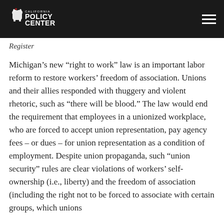California Policy Center
Register
Michigan's new “right to work” law is an important labor reform to restore workers’ freedom of association. Unions and their allies responded with thuggery and violent rhetoric, such as “there will be blood.” The law would end the requirement that employees in a unionized workplace, who are forced to accept union representation, pay agency fees – or dues – for union representation as a condition of employment. Despite union propaganda, such “union security” rules are clear violations of workers’ self-ownership (i.e., liberty) and the freedom of association (including the right not to be forced to associate with certain groups, which unions